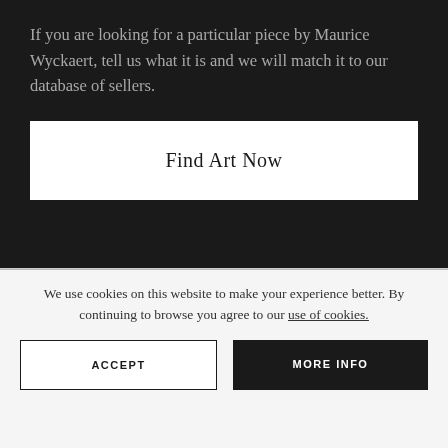If you are looking for a particular piece by Maurice Wyckaert, tell us what it is and we will match it to our database of sellers.
Find Art Now
We use cookies on this website to make your experience better. By continuing to browse you agree to our use of cookies.
ACCEPT
MORE INFO